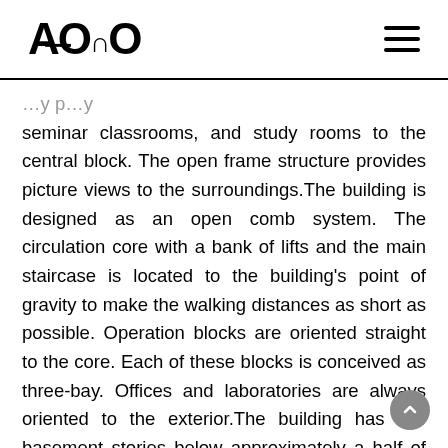A°OnO
seminar classrooms, and study rooms to the central block. The open frame structure provides picture views to the surroundings.The building is designed as an open comb system. The circulation core with a bank of lifts and the main staircase is located to the building's point of gravity to make the walking distances as short as possible. Operation blocks are oriented straight to the core. Each of these blocks is conceived as three-bay. Offices and laboratories are always oriented to the exterior.The building has two basement stories below approximately a half of its footprint. An underground car park with 90 parking places is in the second basement. The